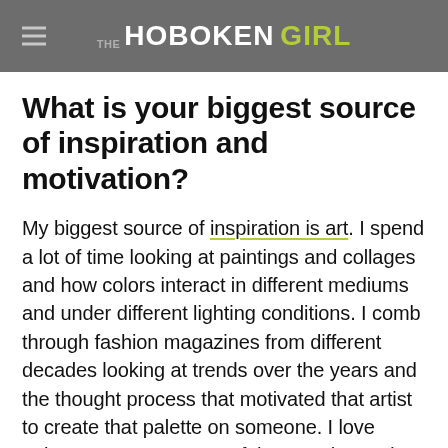THE HOBOKEN GIRL
What is your biggest source of inspiration and motivation?
My biggest source of inspiration is art. I spend a lot of time looking at paintings and collages and how colors interact in different mediums and under different lighting conditions. I comb through fashion magazines from different decades looking at trends over the years and the thought process that motivated that artist to create that palette on someone. I love trying to recreate some of those styles and designs